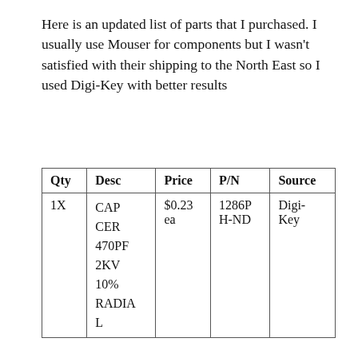Here is an updated list of parts that I purchased. I usually use Mouser for components but I wasn't satisfied with their shipping to the North East so I used Digi-Key with better results
| Qty | Desc | Price | P/N | Source |
| --- | --- | --- | --- | --- |
| 1X | CAP CER 470PF 2KV 10% RADIAL | $0.23 ea | 1286PH-ND | Digi-Key |